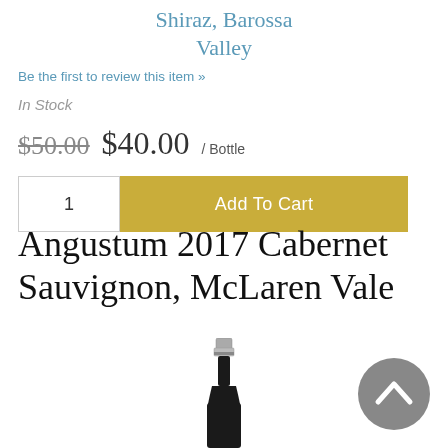Shiraz, Barossa Valley
Be the first to review this item »
In Stock
$50.00  $40.00 / Bottle
[Figure (screenshot): Quantity input box showing '1' and an Add To Cart button with gold/yellow background]
Angustum 2017 Cabernet Sauvignon, McLaren Vale
[Figure (photo): Top portion of a dark wine bottle with metallic capsule, partially visible]
[Figure (other): Grey circular back-to-top button with upward chevron arrow]